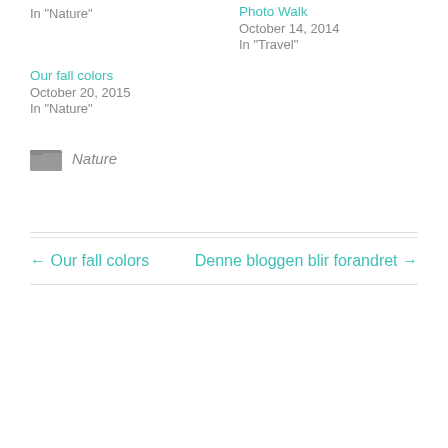In "Nature"
October 14, 2014
In "Travel"
Our fall colors
October 20, 2015
In "Nature"
Nature
← Our fall colors
Denne bloggen blir forandret →